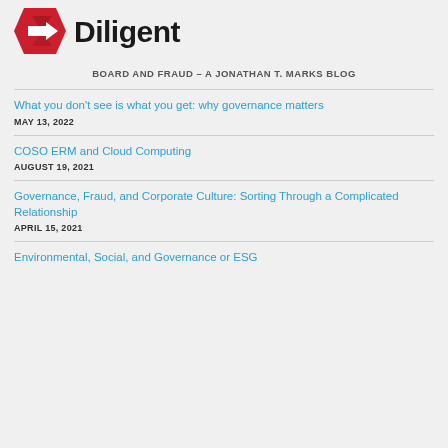[Figure (logo): Diligent logo with red diamond/arrow shape on left and bold black 'Diligent' text on right]
BOARD AND FRAUD – A JONATHAN T. MARKS BLOG
What you don't see is what you get: why governance matters
MAY 13, 2022
COSO ERM and Cloud Computing
AUGUST 19, 2021
Governance, Fraud, and Corporate Culture: Sorting Through a Complicated Relationship
APRIL 15, 2021
Environmental, Social, and Governance or ESG